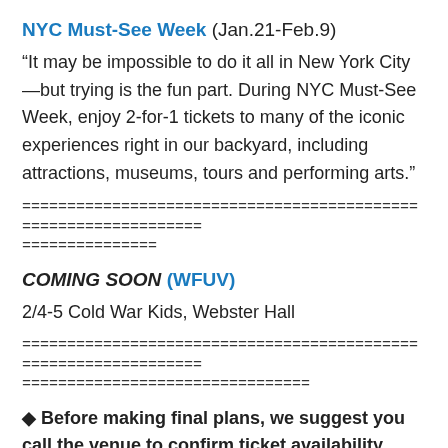NYC Must-See Week (Jan.21-Feb.9)
“It may be impossible to do it all in New York City—but trying is the fun part. During NYC Must-See Week, enjoy 2-for-1 tickets to many of the iconic experiences right in our backyard, including attractions, museums, tours and performing arts.”
================================================================
===============
COMING SOON (WFUV)
2/4-5 Cold War Kids, Webster Hall
================================================================
================================
◆ Before making final plans, we suggest you call the venue to confirm ticket availability, plus dates and